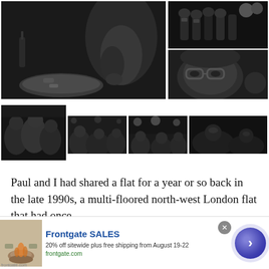[Figure (photo): Black and white photo of a child sitting at a table eating from a plate, low light restaurant setting]
[Figure (photo): Black and white photo of beer taps at a bar]
[Figure (photo): Black and white close-up photo of a person wearing glasses]
[Figure (photo): Black and white photo of a group of people at a social gathering]
[Figure (photo): Black and white photo of people at a crowded indoor event]
[Figure (photo): Black and white photo of people in a dimly lit venue]
[Figure (photo): Black and white photo of a dark scene with people]
Paul and I had shared a flat for a year or so back in the late 1990s, a multi-floored north-west London flat that had once
Frontgate SALES
20% off sitewide plus free shipping from August 19-22
frontgate.com